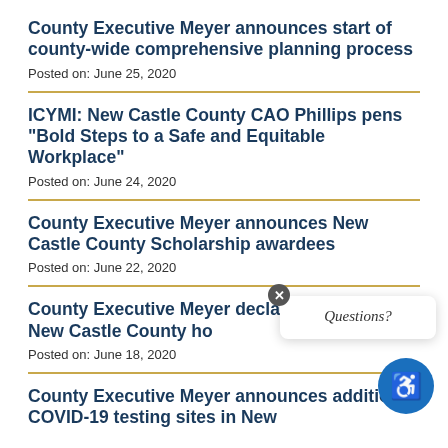County Executive Meyer announces start of county-wide comprehensive planning process
Posted on: June 25, 2020
ICYMI: New Castle County CAO Phillips pens "Bold Steps to a Safe and Equitable Workplace"
Posted on: June 24, 2020
County Executive Meyer announces New Castle County Scholarship awardees
Posted on: June 22, 2020
County Executive Meyer declares Juneteenth a New Castle County ho...
Posted on: June 18, 2020
County Executive Meyer announces additional COVID-19 testing sites in New